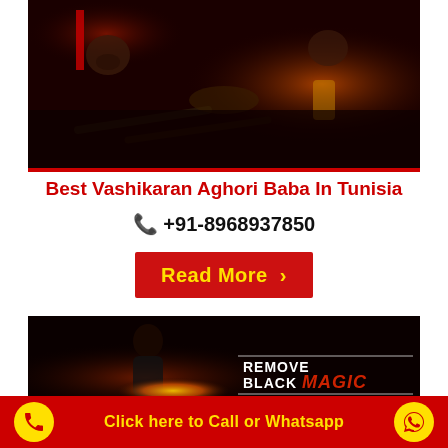[Figure (photo): Dark mystical scene with skulls, bones, candles and ritual objects on a dark surface, with a glowing candle in the background]
Best Vashikaran Aghori Baba In Tunisia
📞 +91-8968937850
Read More ›
[Figure (photo): Dark image of a woman holding fire/light with text overlay reading REMOVE BLACK MAGIC]
Click here to Call or Whatsapp